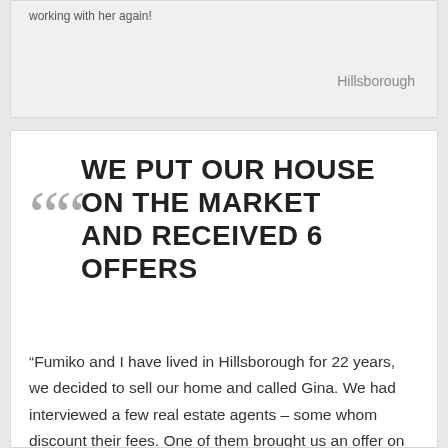working with her again!
Hillsborough
WE PUT OUR HOUSE ON THE MARKET AND RECEIVED 6 OFFERS
“Fumiko and I have lived in Hillsborough for 22 years, we decided to sell our home and called Gina. We had interviewed a few real estate agents – some whom discount their fees. One of them brought us an offer on our home before it was for sale. The price they wanted was $1,600,000. We discussed this